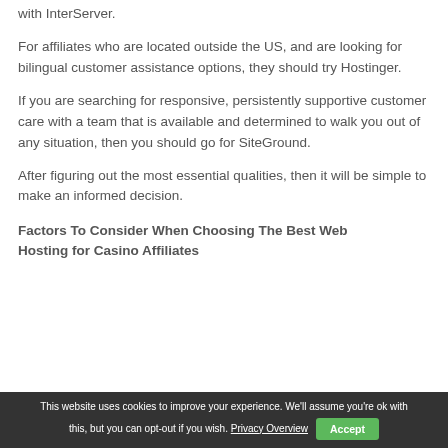with InterServer.
For affiliates who are located outside the US, and are looking for bilingual customer assistance options, they should try Hostinger.
If you are searching for responsive, persistently supportive customer care with a team that is available and determined to walk you out of any situation, then you should go for SiteGround.
After figuring out the most essential qualities, then it will be simple to make an informed decision.
Factors To Consider When Choosing The Best Web Hosting for Casino Affiliates
This website uses cookies to improve your experience. We'll assume you're ok with this, but you can opt-out if you wish. Privacy Overview  Accept